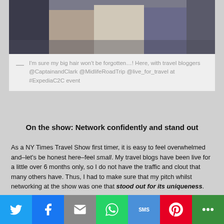[Figure (photo): Partial photo of people standing together at an event, cropped at the top]
— I'm sure my big hair won't be forgotten…! Here, with travel bloggers @CaptainandClark @MidlifeRoadTrip @live_for_travel at #ExpediaC2C event
On the show: Network confidently and stand out
As a NY Times Travel Show first timer, it is easy to feel overwhelmed and–let's be honest here–feel small. My travel blogs have been live for a little over 6 months only, so I do not have the traffic and clout that many others have. Thus, I had to make sure that my pitch whilst networking at the show was one that stood out for its uniqueness.
While I'm a relatively-new travel blogger, I also work as a
Share buttons: Twitter, Facebook, Email, WhatsApp, SMS, Pinterest, More